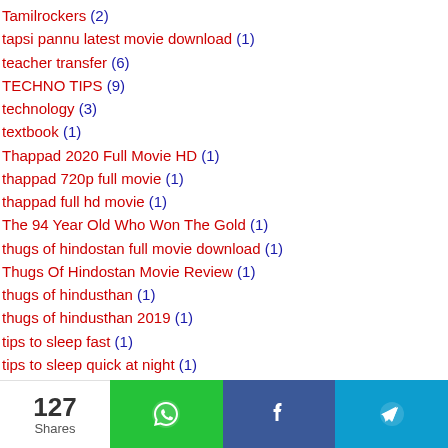Tamilrockers (2)
tapsi pannu latest movie download (1)
teacher transfer (6)
TECHNO TIPS (9)
technology (3)
textbook (1)
Thappad 2020 Full Movie HD (1)
thappad 720p full movie (1)
thappad full hd movie (1)
The 94 Year Old Who Won The Gold (1)
thugs of hindostan full movie download (1)
Thugs Of Hindostan Movie Review (1)
thugs of hindusthan (1)
thugs of hindusthan 2019 (1)
tips to sleep fast (1)
tips to sleep quick at night (1)